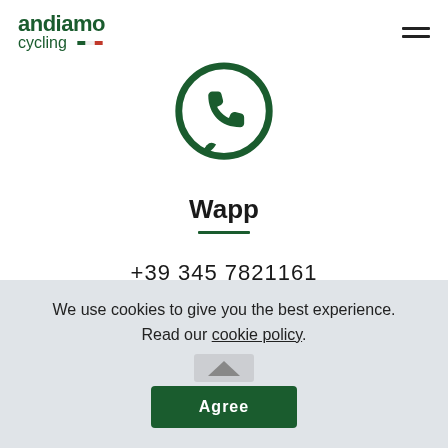[Figure (logo): Andiamo Cycling logo with green text and Italian flag stripe decoration]
[Figure (illustration): Dark green WhatsApp phone icon in a speech bubble circle]
Wapp
+39 345 7821161
We use cookies to give you the best experience. Read our cookie policy.